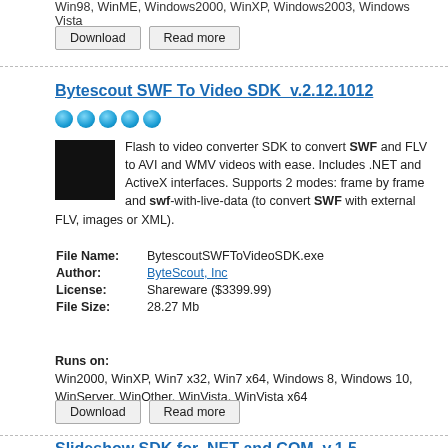Win98, WinME, Windows2000, WinXP, Windows2003, Windows Vista
[Figure (other): Download and Read more buttons]
Bytescout SWF To Video SDK  v.2.12.1012
[Figure (illustration): Five blue star/ball rating icons]
Flash to video converter SDK to convert SWF and FLV to AVI and WMV videos with ease. Includes .NET and ActiveX interfaces. Supports 2 modes: frame by frame and swf-with-live-data (to convert SWF with external FLV, images or XML).
| File Name: | BytescoutSWFToVideoSDK.exe |
| Author: | ByteScout, Inc |
| License: | Shareware ($3399.99) |
| File Size: | 28.27 Mb |
Runs on:
Win2000, WinXP, Win7 x32, Win7 x64, Windows 8, Windows 10, WinServer, WinOther, WinVista, WinVista x64
[Figure (other): Download and Read more buttons]
Slideshow SDK for .NET and COM  v.1.5